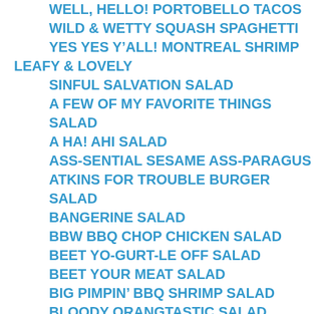WELL, HELLO! PORTOBELLO TACOS
WILD & WETTY SQUASH SPAGHETTI
YES YES Y'ALL! MONTREAL SHRIMP
LEAFY & LOVELY
SINFUL SALVATION SALAD
A FEW OF MY FAVORITE THINGS SALAD
A HA! AHI SALAD
ASS-SENTIAL SESAME ASS-PARAGUS
ATKINS FOR TROUBLE BURGER SALAD
BANGERINE SALAD
BBW BBQ CHOP CHICKEN SALAD
BEET YO-GURT-LE OFF SALAD
BEET YOUR MEAT SALAD
BIG PIMPIN' BBQ SHRIMP SALAD
BLOODY ORANGTASTIC SALAD
BOAST THE MOST ASS-PARAGUS
BROTHEL BROCCOLI BREAK
CAPABLE MAPLE SQUASH
CHARRED OCTOPUSSY SALAD
CHEEKY CHINESE CHICKEN SALAD